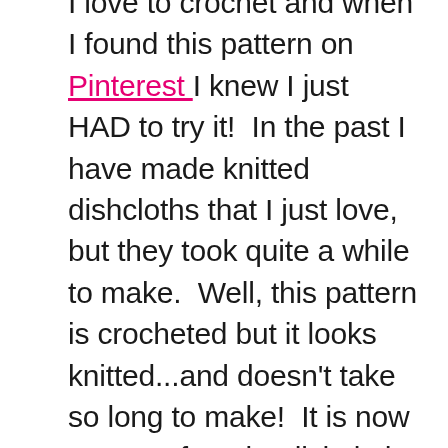I love to crochet and when I found this pattern on Pinterest I knew I just HAD to try it!  In the past I have made knitted dishcloths that I just love, but they took quite a while to make.  Well, this pattern is crocheted but it looks knitted...and doesn't take so long to make!  It is now my very favorite dishcloth to use.  These are sturdy but not too thick like many crocheted dishcloths are.  They really do feel like the knitted ones...it is amazing!  And they are so pretty too.